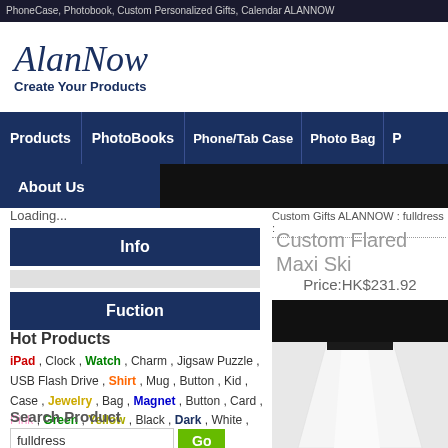PhoneCase, Photobook, Custom Personalized Gifts, Calendar ALANNOW
[Figure (logo): AlanNow logo with italic script text and tagline 'Create Your Products']
Products | PhotoBooks | Phone/Tab Case | Photo Bag | P
About Us
Loading...
Info
Fuction
Hot Products
iPad , Clock , Watch , Charm , Jigsaw Puzzle , USB Flash Drive , Shirt , Mug , Button , Kid , Case , Jewelry , Bag , Magnet , Button , Card , Pink , Green , Yellow , Black , Dark , White , Silver , Key , Heart
Search Product
fulldress
Custom Gifts ALANNOW : fulldress :
Custom Flared Maxi Ski
Price:HK$231.92
[Figure (photo): Woman wearing a white flared maxi skirt with black top]